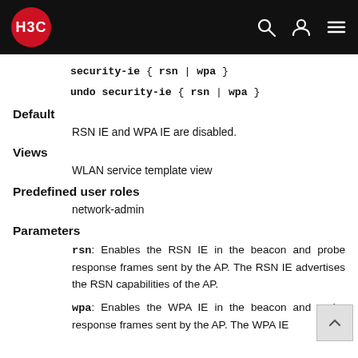H3C
Default
RSN IE and WPA IE are disabled.
Views
WLAN service template view
Predefined user roles
network-admin
Parameters
rsn: Enables the RSN IE in the beacon and probe response frames sent by the AP. The RSN IE advertises the RSN capabilities of the AP.
wpa: Enables the WPA IE in the beacon and probe response frames sent by the AP. The WPA IE